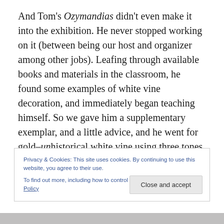And Tom's Ozymandias didn't even make it into the exhibition. He never stopped working on it (between being our host and organizer among other jobs). Leafing through available books and materials in the classroom, he found some examples of white vine decoration, and immediately began teaching himself. So we gave him a supplementary exemplar, and a little advice, and he went for gold–unhistorical white vine using three tones of red instead of the traditional three or four colours; and not shell gold
Privacy & Cookies: This site uses cookies. By continuing to use this website, you agree to their use.
To find out more, including how to control cookies, see here: Cookie Policy